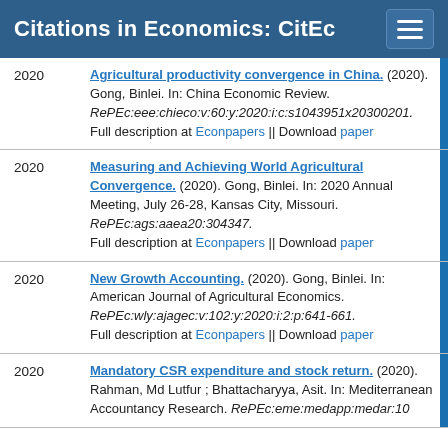Citations in Economics: CitEc
2020 Agricultural productivity convergence in China. (2020). Gong, Binlei. In: China Economic Review. RePEc:eee:chieco:v:60:y:2020:i:c:s1043951x20300201. Full description at Econpapers || Download paper
2020 Measuring and Achieving World Agricultural Convergence. (2020). Gong, Binlei. In: 2020 Annual Meeting, July 26-28, Kansas City, Missouri. RePEc:ags:aaea20:304347. Full description at Econpapers || Download paper
2020 New Growth Accounting. (2020). Gong, Binlei. In: American Journal of Agricultural Economics. RePEc:wly:ajagec:v:102:y:2020:i:2:p:641-661. Full description at Econpapers || Download paper
2020 Mandatory CSR expenditure and stock return. (2020). Rahman, Md Lutfur ; Bhattacharyya, Asit. In: Mediterranean Accountancy Research. RePEc:eme:medapp:medar:10